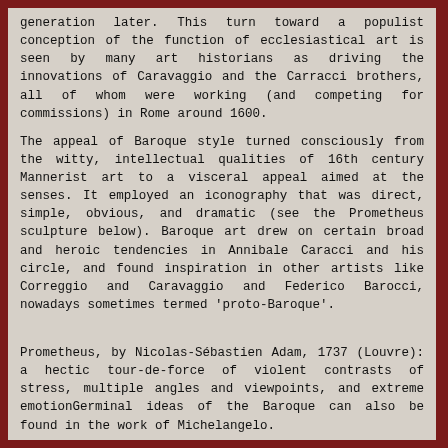generation later. This turn toward a populist conception of the function of ecclesiastical art is seen by many art historians as driving the innovations of Caravaggio and the Carracci brothers, all of whom were working (and competing for commissions) in Rome around 1600.
The appeal of Baroque style turned consciously from the witty, intellectual qualities of 16th century Mannerist art to a visceral appeal aimed at the senses. It employed an iconography that was direct, simple, obvious, and dramatic (see the Prometheus sculpture below). Baroque art drew on certain broad and heroic tendencies in Annibale Caracci and his circle, and found inspiration in other artists like Correggio and Caravaggio and Federico Barocci, nowadays sometimes termed 'proto-Baroque'.
Prometheus, by Nicolas-Sébastien Adam, 1737 (Louvre): a hectic tour-de-force of violent contrasts of stress, multiple angles and viewpoints, and extreme emotionGerminal ideas of the Baroque can also be found in the work of Michelangelo.
Some general parallels in music make the expression "Baroque music" useful: there are contrasting phrase lengths, harmony and counterpoint have ousted polyphony, and orchestral color makes a stronger appearance. See the entry Baroque music. Similar fascination with simple, strong, dramatic expression in poetry...